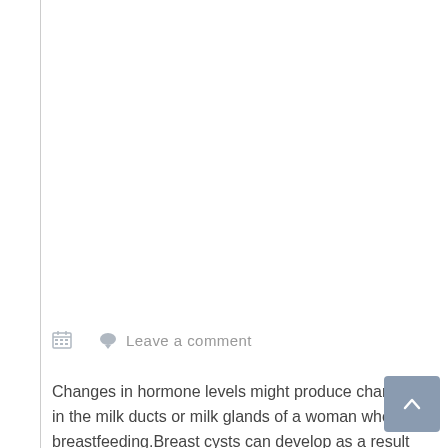Leave a comment
Changes in hormone levels might produce changes in the milk ducts or milk glands of a woman who is breastfeeding.Breast cysts can develop as a result of